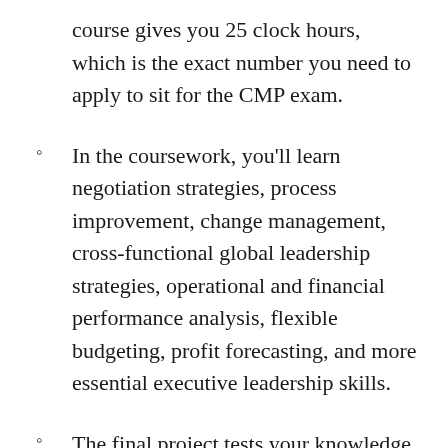course gives you 25 clock hours, which is the exact number you need to apply to sit for the CMP exam.
In the coursework, you'll learn negotiation strategies, process improvement, change management, cross-functional global leadership strategies, operational and financial performance analysis, flexible budgeting, profit forecasting, and more essential executive leadership skills.
The final project tests your knowledge by asking you to take an existing business problem and develop a solution for it. In